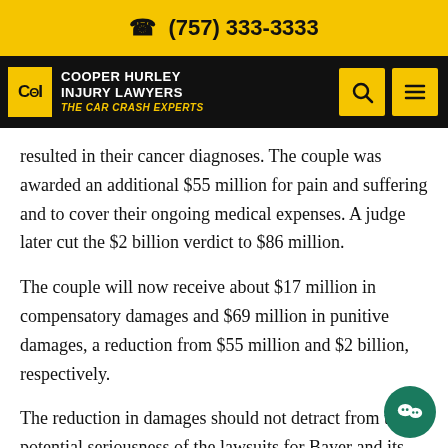(757) 333-3333
[Figure (logo): Cooper Hurley Injury Lawyers — The Car Crash Experts logo in black navigation bar with yellow accents and search/menu icons]
resulted in their cancer diagnoses. The couple was awarded an additional $55 million for pain and suffering and to cover their ongoing medical expenses. A judge later cut the $2 billion verdict to $86 million.
The couple will now receive about $17 million in compensatory damages and $69 million in punitive damages, a reduction from $55 million and $2 billion, respectively.
The reduction in damages should not detract from the potential seriousness of the lawsuits for Bayer and its